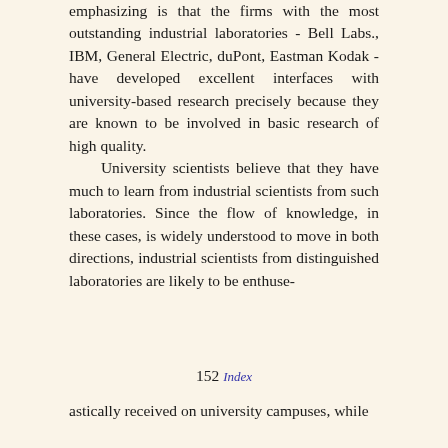emphasizing is that the firms with the most outstanding industrial laboratories - Bell Labs., IBM, General Electric, duPont, Eastman Kodak - have developed excellent interfaces with university-based research precisely because they are known to be involved in basic research of high quality. University scientists believe that they have much to learn from industrial scientists from such laboratories. Since the flow of knowledge, in these cases, is widely understood to move in both directions, industrial scientists from distinguished laboratories are likely to be enthuse-
152 Index
astically received on university campuses, while